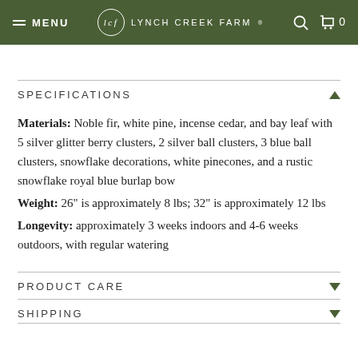MENU  lcf  LYNCH CREEK FARM  🔍  🛒 0
SPECIFICATIONS
Materials: Noble fir, white pine, incense cedar, and bay leaf with 5 silver glitter berry clusters, 2 silver ball clusters, 3 blue ball clusters, snowflake decorations, white pinecones, and a rustic snowflake royal blue burlap bow
Weight: 26" is approximately 8 lbs; 32" is approximately 12 lbs
Longevity: approximately 3 weeks indoors and 4-6 weeks outdoors, with regular watering
PRODUCT CARE
SHIPPING